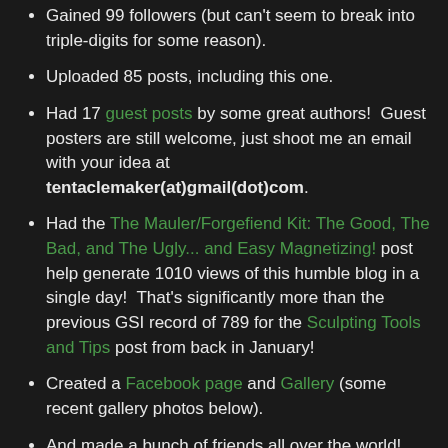Gained 99 followers (but can't seem to break into triple-digits for some reason).
Uploaded 85 posts, including this one.
Had 17 guest posts by some great authors!  Guest posters are still welcome, just shoot me an email with your idea at tentaclemaker(at)gmail(dot)com.
Had the The Mauler/Forgefiend Kit: The Good, The Bad, and The Ugly... and Easy Magnetizing! post help generate 1010 views of this humble blog in a single day!  That's significantly more than the previous GSI record of 789 for the Sculpting Tools and Tips post from back in January!
Created a Facebook page and Gallery (some recent gallery photos below).
And made a bunch of friends all over the world!
These are some of the folks that have supported GSI from the beginning: